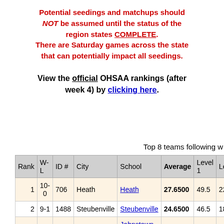Potential seedings and matchups should NOT be assumed until the status of the region states COMPLETE. There are Saturday games across the state that can potentially impact all seedings.
View the official OHSAA rankings (after week 4) by clicking here.
Top 8 teams following w
| Rank | W-L | ID # | City | School | Average | Level 1 | Lev |
| --- | --- | --- | --- | --- | --- | --- | --- |
| 1 | 10-0 | 706 | Heath | Heath | 27.6500 | 49.5 | 227 |
| 2 | 9-1 | 1488 | Steubenville | Steubenville | 24.6500 | 46.5 | 186 |
| 3 | 9-1 | 794 | Johnstown | Johnstown-Monroe | 23.7500 | 45.5 | 192 |
| 4 | 9-1 | 1416 | Shelby | Shelby | 20.9000 | 44.5 | 164 |
| 5 | 7-3 | 232 | Carroll | Bloom-Carroll | 18.9500 | 35.5 | 154 |